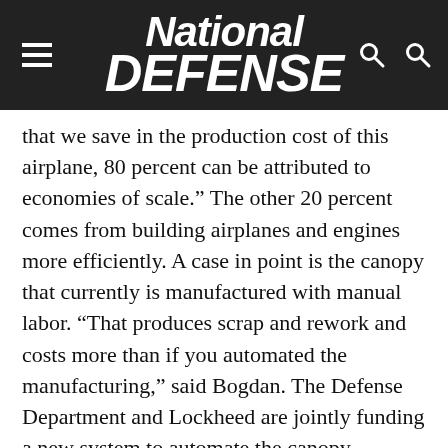National Defense
that we save in the production cost of this airplane, 80 percent can be attributed to economies of scale.” The other 20 percent comes from building airplanes and engines more efficiently. A case in point is the canopy that currently is manufactured with manual labor. “That produces scrap and rework and costs more than if you automated the manufacturing,” said Bogdan. The Defense Department and Lockheed are jointly funding a new system to automate the canopy assembly. “We have many projects on the books that are being implemented or about to be implemented,” he said.